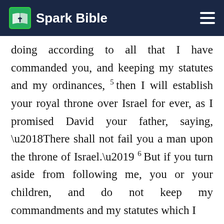Spark Bible
doing according to all that I have commanded you, and keeping my statutes and my ordinances, 5 then I will establish your royal throne over Israel for ever, as I promised David your father, saying, ‘There shall not fail you a man upon the throne of Israel.’ 6 But if you turn aside from following me, you or your children, and do not keep my commandments and my statutes which I